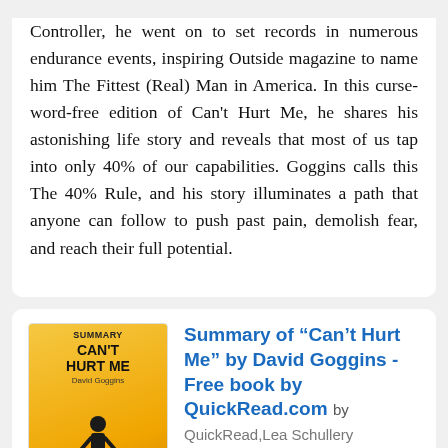Controller, he went on to set records in numerous endurance events, inspiring Outside magazine to name him The Fittest (Real) Man in America. In this curse-word-free edition of Can't Hurt Me, he shares his astonishing life story and reveals that most of us tap into only 40% of our capabilities. Goggins calls this The 40% Rule, and his story illuminates a path that anyone can follow to push past pain, demolish fear, and reach their full potential.
[Figure (illustration): Book cover of 'Summary: Can't Hurt Me' by QuickRead, showing a silhouette of a person standing with arms slightly out against an orange/yellow background.]
Summary of “Can’t Hurt Me” by David Goggins - Free book by QuickRead.com by QuickRead, Lea Schullery